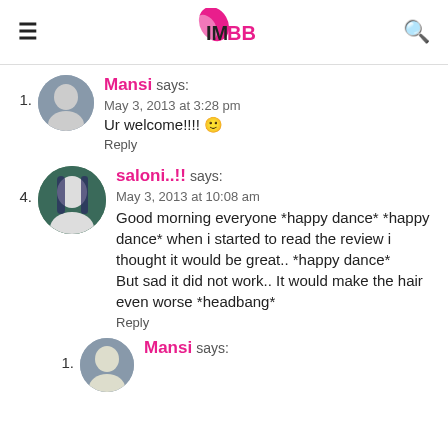IMBB
1. Mansi says:
May 3, 2013 at 3:28 pm
Ur welcome!!!! 🙂
Reply
4. saloni..!! says:
May 3, 2013 at 10:08 am
Good morning everyone *happy dance* *happy dance* when i started to read the review i thought it would be great.. *happy dance*
But sad it did not work.. It would make the hair even worse *headbang*
Reply
1. Mansi says: